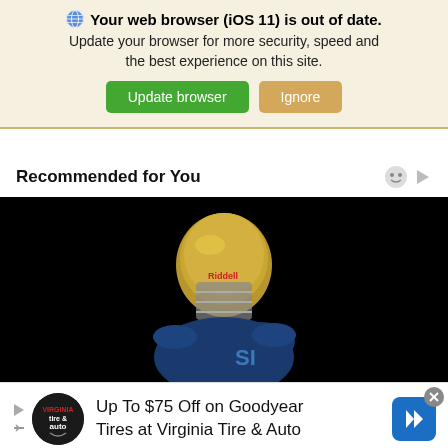🌐 Your web browser (iOS 11) is out of date. Update your browser for more security, speed and the best experience on this site. Update browser | Ignore
Recommended for You
[Figure (photo): Football player wearing a gold helmet and navy blue jersey with 'SI' letters, photographed against a black background. The helmet appears to be a Riddell brand helmet.]
Up To $75 Off on Goodyear Tires at Virginia Tire & Auto